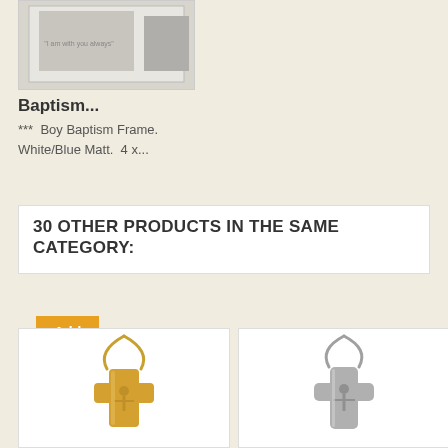[Figure (photo): Baptism frame product image thumbnail at top of page]
Baptism...
***  Boy Baptism Frame.  White/Blue Matt.  4 x...
Add to cart
30 OTHER PRODUCTS IN THE SAME CATEGORY:
[Figure (photo): Gold crucifix necklace pendant on gold chain]
[Figure (photo): Silver crucifix necklace pendant on silver chain]